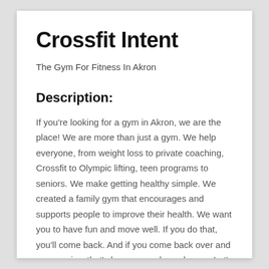Crossfit Intent
The Gym For Fitness In Akron
Description:
If you're looking for a gym in Akron, we are the place! We are more than just a gym. We help everyone, from weight loss to private coaching, Crossfit to Olympic lifting, teen programs to seniors. We make getting healthy simple. We created a family gym that encourages and supports people to improve their health. We want you to have fun and move well. If you do that, you'll come back. And if you come back over and over again…that's how you make a change. Let's do this!